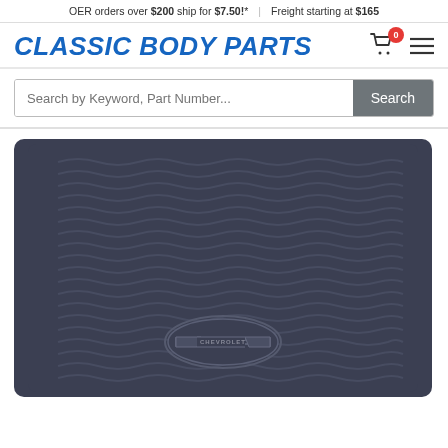OER orders over $200 ship for $7.50!* | Freight starting at $165
CLASSIC BODY PARTS
Search by Keyword, Part Number...
[Figure (photo): A dark navy/charcoal rubber floor mat with wavy horizontal ribbed pattern across the surface and an embossed Chevrolet bowtie logo badge in the lower center area.]